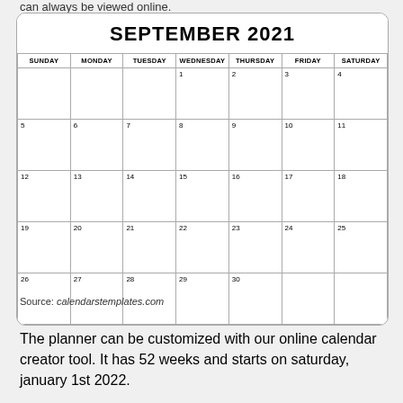can always be viewed online.
[Figure (other): September 2021 monthly calendar grid with days Sunday through Saturday and dates 1-30]
Source: calendarstemplates.com
The planner can be customized with our online calendar creator tool. It has 52 weeks and starts on saturday, january 1st 2022.